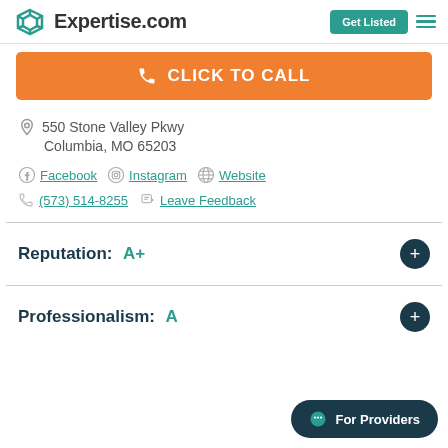Expertise.com | Get Listed
CLICK TO CALL
550 Stone Valley Pkwy
Columbia, MO 65203
Facebook  Instagram  Website
(573) 514-8255  Leave Feedback
Reputation: A+
Professionalism: A
For Providers